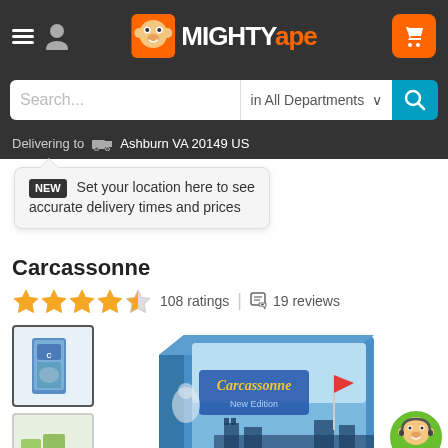Mighty Ape - header navigation with logo, hamburger menu, user icon, and cart button
Search...  in All Departments
Delivering to  Ashburn VA 20149 US
NEW  Set your location here to see accurate delivery times and prices
Carcassonne
108 ratings   19 reviews
[Figure (screenshot): Carcassonne board game box - main product image showing the blue box with castle/medieval art, and two thumbnail images in a column on the left]